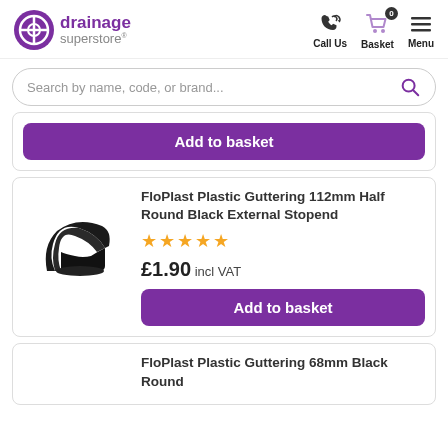[Figure (logo): Drainage Superstore logo with purple circle icon and text]
[Figure (infographic): Navigation icons: phone (Call Us), shopping cart with badge 0 (Basket), hamburger menu (Menu)]
Search by name, code, or brand...
Add to basket
FloPlast Plastic Guttering 112mm Half Round Black External Stopend
[Figure (photo): Black plastic half-round guttering stopend product photo]
★★★★★
£1.90 incl VAT
Add to basket
FloPlast Plastic Guttering 68mm Black Round